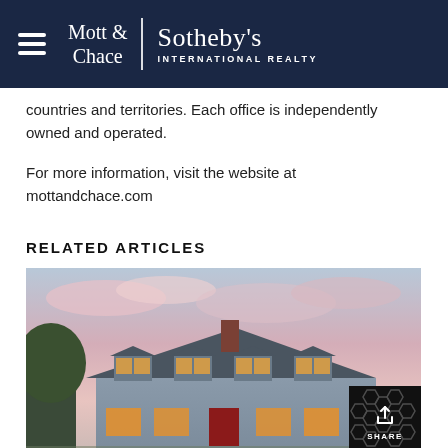Mott & Chace | Sotheby's International Realty
countries and territories. Each office is independently owned and operated.
For more information, visit the website at mottandchace.com
RELATED ARTICLES
[Figure (photo): Exterior photo of a New England shingle-style house at sunset with pink and blue sky, lit windows, red front door, and dormer windows]